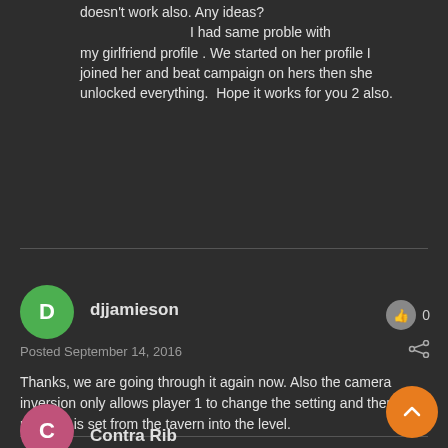doesn't work also. Any ideas?
    I had same proble with my girlfriend profile . We started on her profile I joined her and beat campaign on hers then she unlocked everything.  Hope it works for you 2 also.
djjamieson
Posted September 14, 2016
Thanks, we are going through it again now. Also the camera inversion only allows player 1 to change the setting and then player 2 is set from the tavern into the level.
Contra Rib